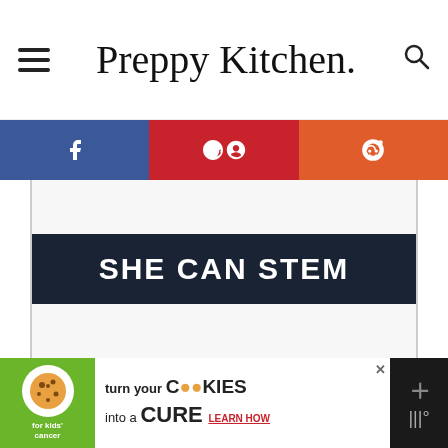Preppy Kitchen
[Figure (screenshot): Social share bar with Facebook (blue), Pinterest (red), Reddit (orange) buttons]
[Figure (other): White content area with dark navy banner reading SHE CAN STEM in white bold uppercase text]
[Figure (other): Advertisement banner: Cookies for Kids Cancer - turn your COOKIES into a CURE LEARN HOW]